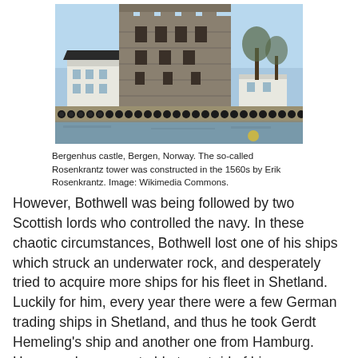[Figure (photo): Photograph of Bergenhus castle in Bergen, Norway, showing the Rosenkrantz tower (a stone tower) with a white building to its left, trees in background, and a row of tires/bollards along the waterfront.]
Bergenhus castle, Bergen, Norway. The so-called Rosenkrantz tower was constructed in the 1560s by Erik Rosenkrantz. Image: Wikimedia Commons.
However, Bothwell was being followed by two Scottish lords who controlled the navy. In these chaotic circumstances, Bothwell lost one of his ships which struck an underwater rock, and desperately tried to acquire more ships for his fleet in Shetland. Luckily for him, every year there were a few German trading ships in Shetland, and thus he took Gerdt Hemeling's ship and another one from Hamburg. However, he was not able to get rid of his persecutors, and a battle resulted in which the mast of one of the ships broke.